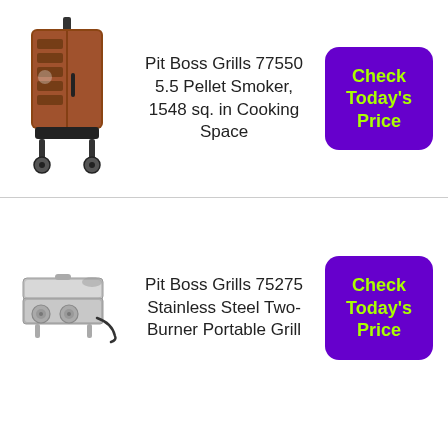[Figure (illustration): Pit Boss pellet smoker, vertical cabinet style, brown/copper color with black base and wheels]
Pit Boss Grills 77550 5.5 Pellet Smoker, 1548 sq. in Cooking Space
[Figure (other): Check Today's Price button, purple background with lime green bold text]
[Figure (illustration): Pit Boss portable tabletop two-burner stainless steel grill with cord]
Pit Boss Grills 75275 Stainless Steel Two-Burner Portable Grill
[Figure (other): Check Today's Price button, purple background with lime green bold text]